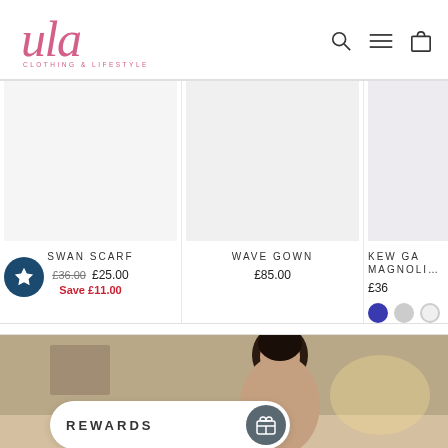[Figure (logo): ula Clothing & Lifestyle logo in pink cursive script]
[Figure (infographic): Navigation icons: search magnifying glass, hamburger menu, shopping bag]
SWAN SCARF £36.00 £25.00 Save £11.00
WAVE GOWN £85.00
KEW GA... MAGNOLI... £36
[Figure (infographic): Color selection dots: blue (selected), gray, light/white]
[Figure (photo): Photo of a dark-haired woman in a warm-toned interior setting]
REWARDS